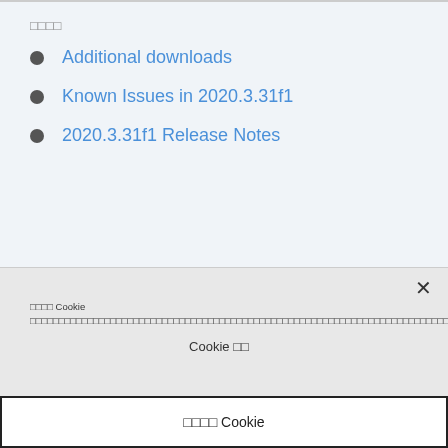□□□□
Additional downloads
Known Issues in 2020.3.31f1
2020.3.31f1 Release Notes
□□□□ Cookie □□□□□□□□□□□□□□□□□□□□□□□□□□□□□□□□□□□□□□□□□□□□□□□□□□□□□□□□□□□□□□□□□□□□□□□□□□□□□□□□□□□□□□□□□□□□□□□□□□□□□□□□□□□□□□□□□□□□□□□□□□□□□□□□□□□□□□□□□□□□□□□□□□□□□□□□□□□□□□□□□□□□□□□□□□□□□□□□□□□□□□□□□□□□□□□□□□□□□□□□□□□□□□□□□□□□□□□□□□□□□□□□□□□□□□
Cookie □□
□□□□ Cookie